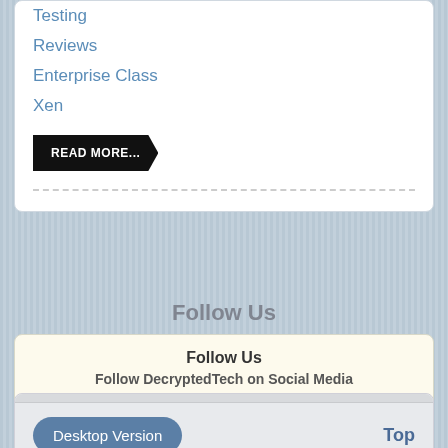Testing
Reviews
Enterprise Class
Xen
READ MORE...
Desktop Version
Top
Follow Us
Follow Us
Follow DecryptedTech on Social Media
[Figure (logo): Facebook, Twitter, and LinkedIn social media icons]